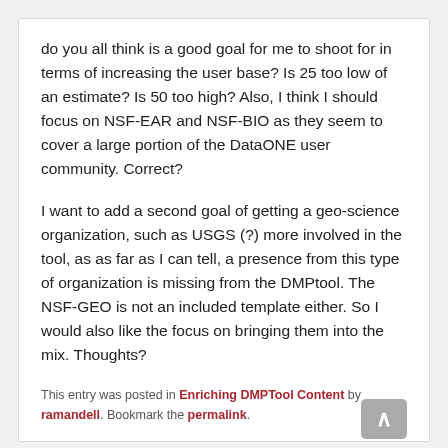do you all think is a good goal for me to shoot for in terms of increasing the user base?  Is 25 too low of an estimate?  Is 50 too high? Also, I think I should focus on NSF-EAR and NSF-BIO as they seem to cover a large portion of the DataONE user community.  Correct?
I want to add a second goal of getting a geo-science organization, such as USGS (?) more involved in the tool, as as far as I can tell, a presence from this type of organization is missing from the DMPtool.  The NSF-GEO is not an included template either.  So I would also like the focus on bringing them into the mix.  Thoughts?
This entry was posted in Enriching DMPTool Content by ramandell. Bookmark the permalink.
2 Replies to "Wrapping Up Week 4, User Test Protocol in